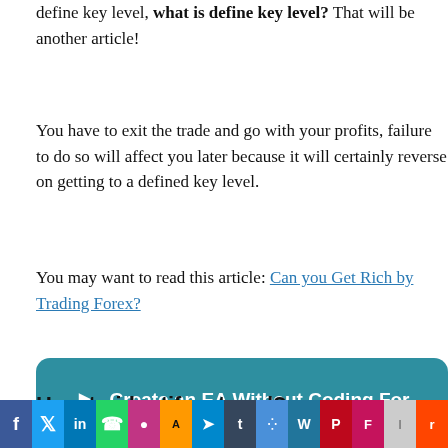define key level, what is define key level? That will be another article!
You have to exit the trade and go with your profits, failure to do so will affect you later because it will certainly reverse on getting to a defined key level.
You may want to read this article: Can you Get Rich by Trading Forex?
[Figure (infographic): Teal/blue rounded banner button with play icon and text: Create an EA Without Coding For Free Click Here]
How to identify a trend?
[Figure (screenshot): Social media share bar with icons: Facebook, Twitter, LinkedIn, WhatsApp, Instagram, Amazon, Telegram, Tumblr, Google, WordPress, Pinterest, Flipboard, unknown, Reddit]